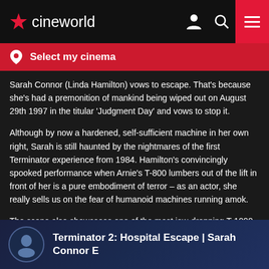cineworld
Select my cinema
Sarah Connor (Linda Hamilton) vows to escape. That's because she's had a premonition of mankind being wiped out on August 29th 1997 in the titular 'Judgment Day' and vows to stop it.
Although by now a hardened, self-sufficient machine in her own right, Sarah is still haunted by the nightmares of the first Terminator experience from 1984. Hamilton's convincingly spooked performance when Arnie's T-800 lumbers out of the lift in front of her is a pure embodiment of terror – as an actor, she really sells us on the fear of humanoid machines running amok.
The scene also showcases one of the most jaw-dropping T-1000 moments where he slips through metal bars, pausing only to retrieve the pistol that he's carrying. Such small but devastatingly effective moments singlehandedly shaped the future of Hollywood filmmaking.
Terminator 2: Hospital Escape | Sarah Connor E